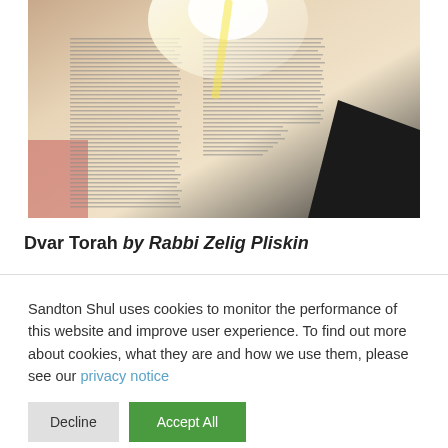[Figure (photo): An open religious/Hebrew text book (likely Talmud or Torah), photographed from above at an angle with a bright light flare visible, pages filled with dense Hebrew text in two columns]
Dvar Torah by Rabbi Zelig Pliskin
Sandton Shul uses cookies to monitor the performance of this website and improve user experience. To find out more about cookies, what they are and how we use them, please see our privacy notice
Decline | Accept All